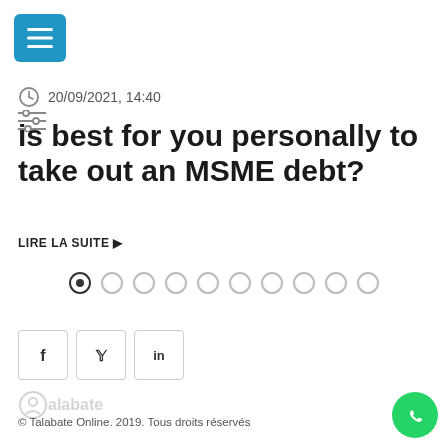[Figure (screenshot): Blue hamburger menu button with three horizontal lines]
20/09/2021, 14:40
is best for you personally to take out an MSME debt?
LIRE LA SUITE ▶
[Figure (other): Carousel pagination dots — one filled active dot followed by nine empty dots]
[Figure (other): Social share icons: Facebook (f), Twitter (bird), LinkedIn (in)]
[Figure (logo): Talabate logo — grey icon with talabate text]
© Talabate Online. 2019. Tous droits réservés